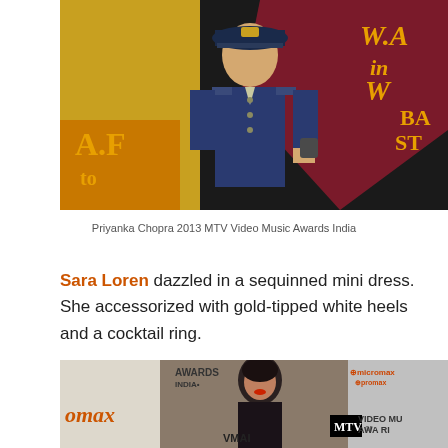[Figure (photo): Close-up photo of a person wearing a colorful graphic top featuring a military officer illustration, with text 'W.A.', 'in', 'W', 'BA', 'ST', 'A.F.' in orange/yellow on dark background]
Priyanka Chopra 2013 MTV Video Music Awards India
Sara Loren dazzled in a sequinned mini dress. She accessorized with gold-tipped white heels and a cocktail ring.
[Figure (photo): Photo at MTV Video Music Awards India event showing a woman with short dark hair wearing a dark outfit, with event logos (omax, AWARDS INDIA, MTV, micromax, VIDEO MU, AWARD, VMAI) visible in the background]